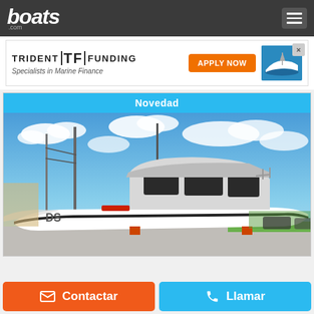boats.com
[Figure (screenshot): Trident Funding advertisement banner with logo, 'Specialists in Marine Finance' tagline, APPLY NOW orange button, and boat image]
Novedad
[Figure (photo): White motorboat/cabin cruiser parked on land with blue sky and clouds in background. Utility poles visible on left. Boat appears to be a DS series model.]
Contactar
Llamar